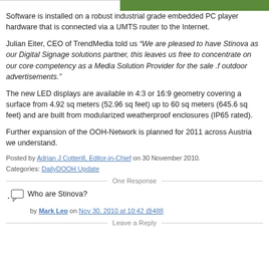[Figure (photo): Top portion of page with partial image — left side white/blank, right side green outdoor scene]
Software is installed on a robust industrial grade embedded PC player hardware that is connected via a UMTS router to the Internet.
Julian Eiter, CEO of TrendMedia told us “We are pleased to have Stinova as our Digital Signage solutions partner, this leaves us free to concentrate on our core competency as a Media Solution Provider for the sale .f outdoor advertisements.”
The new LED displays are available in 4:3 or 16:9 geometry covering a surface from 4.92 sq meters (52.96 sq feet) up to 60 sq meters (645.6 sq feet) and are built from modularized weatherproof enclosures (IP65 rated).
Further expansion of the OOH-Network is planned for 2011 across Austria we understand.
Posted by Adrian J Cotterill, Editor-in-Chief on 30 November 2010.
Categories: DailyDOOH Update
One Response
Who are Stinova?
by Mark Leo on Nov 30, 2010 at 10:42 @488
Leave a Reply